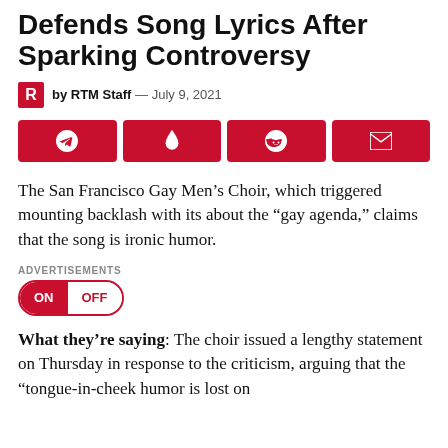Defends Song Lyrics After Sparking Controversy
by RTM Staff — July 9, 2021
[Figure (infographic): Four red social share buttons: Telegram, another share icon, Reddit, and email/envelope icon]
The San Francisco Gay Men’s Choir, which triggered mounting backlash with its about the “gay agenda,” claims that the song is ironic humor.
ADVERTISEMENTS
ON  OFF
What they’re saying: The choir issued a lengthy statement on Thursday in response to the criticism, arguing that the “tongue-in-cheek humor is lost on